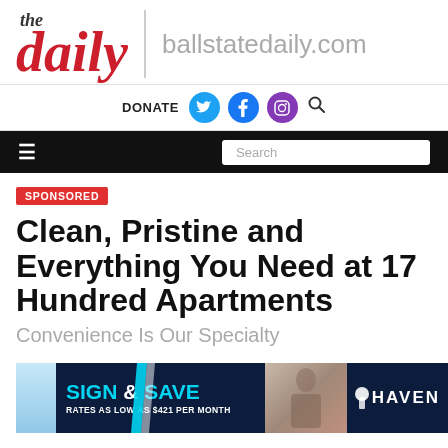[Figure (logo): The Daily newspaper logo with red italic 'the daily' text and 'ballstatedaily.com' site URL]
DONATE [Twitter] [Facebook] [Instagram] [Search]
≡  Search
SPONSORED
Clean, Pristine and Everything You Need at 17 Hundred Apartments
Convenience Is Our Specialty
[Figure (illustration): Advertisement banner: SIGN & SAVE - RATES AS LOW AS $421 PER MONTH with HAVEN branding on dark navy background]